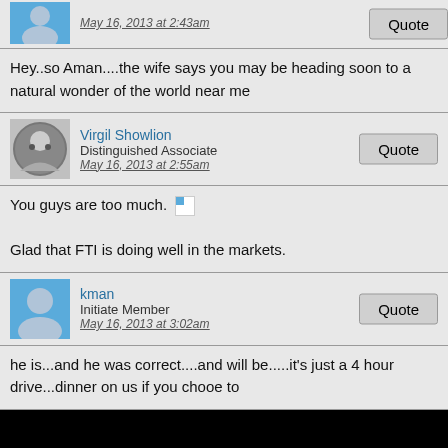May 16, 2013 at 2:43am
Hey..so Aman....the wife says you may be heading soon to a natural wonder of the world near me
Virgil Showlion
Distinguished Associate
May 16, 2013 at 2:55am
You guys are too much.
Glad that FTI is doing well in the markets.
kman
Initiate Member
May 16, 2013 at 3:02am
he is...and he was correct....and will be.....it's just a 4 hour drive...dinner on us if you chooe to
Aman A.K.A. Ahamburger
Senior Associate
May 16, 2013 at 5:09am